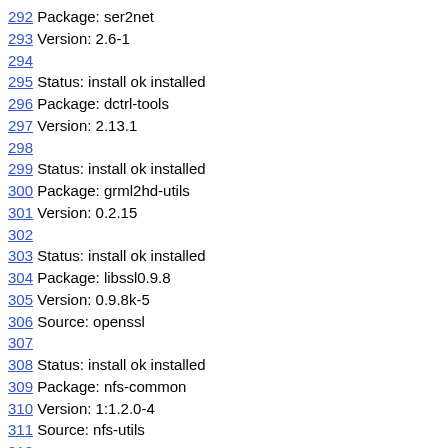292 Package: ser2net
293 Version: 2.6-1
294
295 Status: install ok installed
296 Package: dctrl-tools
297 Version: 2.13.1
298
299 Status: install ok installed
300 Package: grml2hd-utils
301 Version: 0.2.15
302
303 Status: install ok installed
304 Package: libssl0.9.8
305 Version: 0.9.8k-5
306 Source: openssl
307
308 Status: install ok installed
309 Package: nfs-common
310 Version: 1:1.2.0-4
311 Source: nfs-utils
312
313 Status: install ok installed
314 Package: libparted1.8-12
315 Version: 1.8.8.git.2009.07.19-5
316 Source: parted